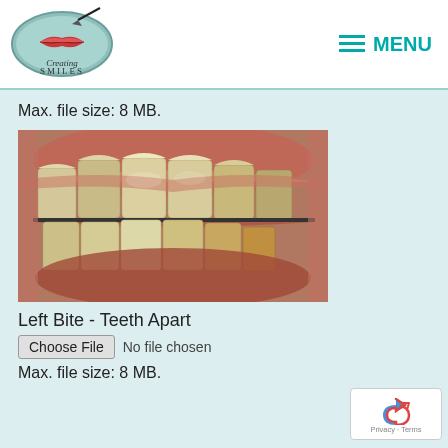[Figure (logo): Creating Smiles dental clinic logo - oval shape with teal border, red lips illustration and paintbrush]
MENU
Max. file size: 8 MB.
[Figure (photo): Close-up dental photograph showing teeth biting together from a left side angle - upper and lower teeth visible with gums]
Left Bite - Teeth Apart
Choose File  No file chosen
Max. file size: 8 MB.